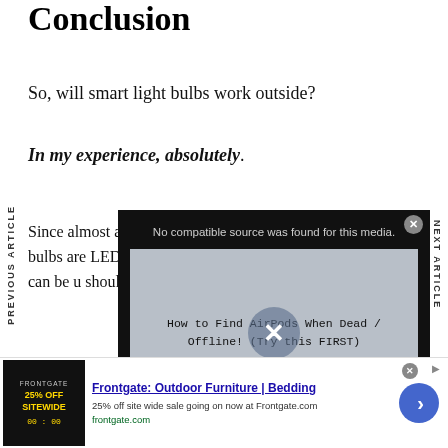Conclusion
So, will smart light bulbs work outside?
In my experience, absolutely.
Since almost all smart bulbs are LEDs, and LEDs can be used outside, there's no reason you shouldn't be able to use a smart light bulb outside.
[Figure (screenshot): Video player overlay showing error message 'No compatible source was found for this media.' with thumbnail text 'How to Find AirPods When Dead / Offline! (Try this FIRST)' and a circular X close button]
Just make sure...
[Figure (screenshot): Bottom advertisement banner for Frontgate: Outdoor Furniture | Bedding. '25% off site wide sale going on now at Frontgate.com'. URL: frontgate.com. Shows store image with '25% OFF SITEWIDE' badge.]